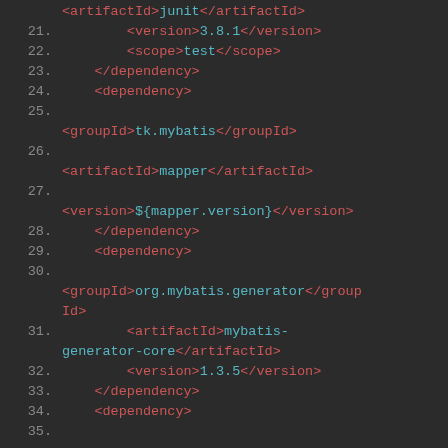[Figure (screenshot): Code editor screenshot showing XML/Maven pom.xml dependency configuration with line numbers 20-35. Dark background (#2b2b2b) with red XML tags and cyan values. Shows junit, tk.mybatis mapper, and org.mybatis.generator dependencies.]